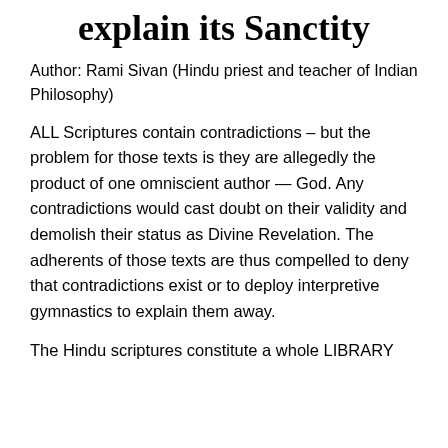explain its Sanctity
Author: Rami Sivan (Hindu priest and teacher of Indian Philosophy)
ALL Scriptures contain contradictions – but the problem for those texts is they are allegedly the product of one omniscient author — God. Any contradictions would cast doubt on their validity and demolish their status as Divine Revelation. The adherents of those texts are thus compelled to deny that contradictions exist or to deploy interpretive gymnastics to explain them away.
The Hindu scriptures constitute a whole LIBRARY